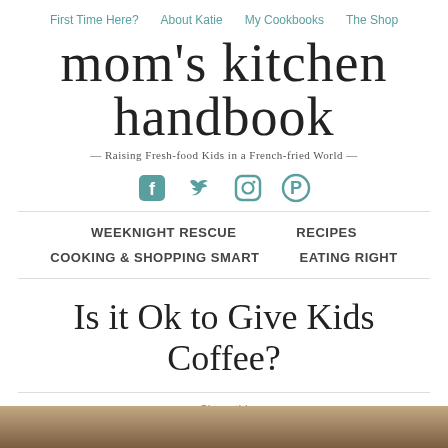First Time Here?  About Katie  My Cookbooks  The Shop
mom's kitchen handbook
— Raising Fresh-food Kids in a French-fried World —
[Figure (other): Social media icons: Facebook, Twitter, Instagram, Pinterest in teal color]
WEEKNIGHT RESCUE   RECIPES   COOKING & SHOPPING SMART   EATING RIGHT
Is it Ok to Give Kids Coffee?
03.14.2016
Share this... [Facebook, Pinterest, Twitter, LinkedIn icons]
[Figure (photo): Bottom image strip showing food photography]